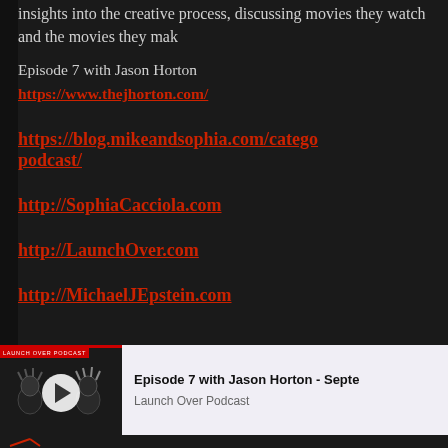insights into the creative process, discussing movies they watch and the movies they make
Episode 7 with Jason Horton
https://www.thejhorton.com/
https://blog.mikeandsophia.com/category/podcast/
http://SophiaCacciola.com
http://LaunchOver.com
http://MichaelJEpstein.com
[Figure (screenshot): Embedded podcast player for Episode 7 with Jason Horton - September on Launch Over Podcast, showing a play button over cartoon character artwork and podcast info panel]